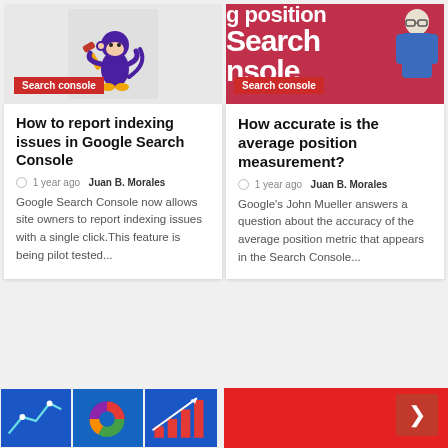[Figure (illustration): Cartoon monkey/animal illustration on grey background with 'Search console' red badge label]
[Figure (screenshot): Partial red card showing large white text 'position', 'Search', 'nsole' and a person illustration, with 'Search console' red badge]
How to report indexing issues in Google Search Console
How accurate is the average position measurement?
1 year ago  Juan B. Morales
1 year ago  Juan B. Morales
Google Search Console now allows site owners to report indexing issues with a single click.This feature is being pilot tested...
Google's John Mueller answers a question about the accuracy of the average position metric that appears in the Search Console...
[Figure (illustration): Analytics/line chart illustration tile (blue background)]
[Figure (illustration): Analytics/pie chart illustration tile (blue background)]
[Figure (illustration): Analytics/bar chart illustration tile (blue background)]
[Figure (illustration): Red background area with navigation arrow button]